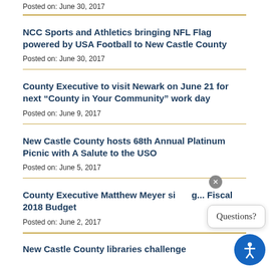Posted on: June 30, 2017
NCC Sports and Athletics bringing NFL Flag powered by USA Football to New Castle County
Posted on: June 30, 2017
County Executive to visit Newark on June 21 for next “County in Your Community” work day
Posted on: June 9, 2017
New Castle County hosts 68th Annual Platinum Picnic with A Salute to the USO
Posted on: June 5, 2017
County Executive Matthew Meyer sig... Fiscal 2018 Budget
Posted on: June 2, 2017
New Castle County libraries challenge